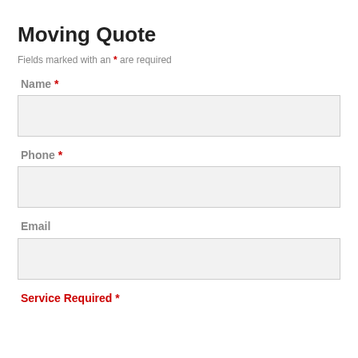Moving Quote
Fields marked with an * are required
Name *
[Figure (other): Empty text input field for Name]
Phone *
[Figure (other): Empty text input field for Phone]
Email
[Figure (other): Empty text input field for Email]
Service Required *